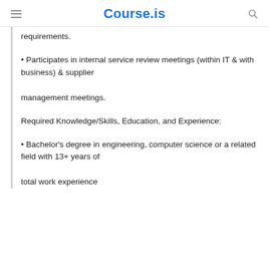Course.is
requirements.
• Participates in internal service review meetings (within IT & with business) & supplier management meetings.
Required Knowledge/Skills, Education, and Experience:
• Bachelor's degree in engineering, computer science or a related field with 13+ years of total work experience